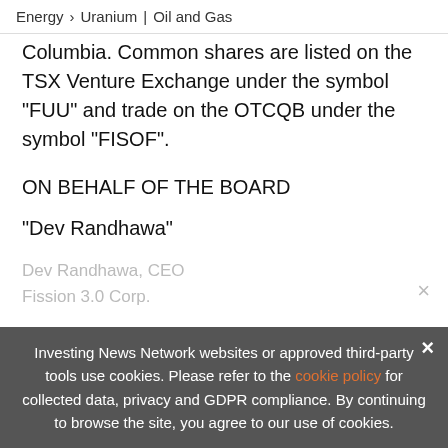Energy > Uranium | Oil and Gas
Columbia. Common shares are listed on the TSX Venture Exchange under the symbol “FUU” and trade on the OTCQB under the symbol “FISOF”.
ON BEHALF OF THE BOARD
“Dev Randhawa”
Dev Randhawa, CEO
Fission 3.0 Corp.
Investing News Network websites or approved third-party tools use cookies. Please refer to the cookie policy for collected data, privacy and GDPR compliance. By continuing to browse the site, you agree to our use of cookies.